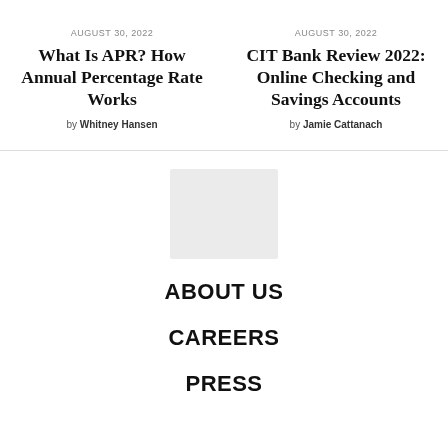AUGUST 30, 2022
What Is APR? How Annual Percentage Rate Works
by Whitney Hansen
AUGUST 30, 2022
CIT Bank Review 2022: Online Checking and Savings Accounts
by Jamie Cattanach
[Figure (logo): Logo placeholder image, light gray rectangle]
ABOUT US
CAREERS
PRESS